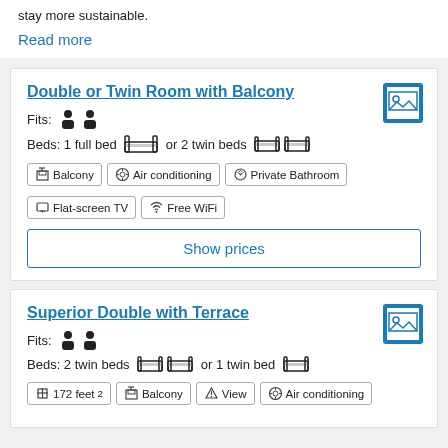stay more sustainable.
Read more
Double or Twin Room with Balcony
Fits: [2 persons]
Beds: 1 full bed or 2 twin beds
Balcony
Air conditioning
Private Bathroom
Flat-screen TV
Free WiFi
Show prices
Superior Double with Terrace
Fits: [2 persons]
Beds: 2 twin beds or 1 twin bed
172 feet²
Balcony
View
Air conditioning